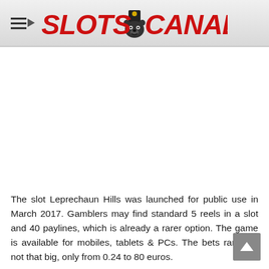SLOTS CANADA
The slot Leprechaun Hills was launched for public use in March 2017. Gamblers may find standard 5 reels in a slot and 40 paylines, which is already a rarer option. The game is available for mobiles, tablets & PCs. The bets range is not that big, only from 0.24 to 80 euros.